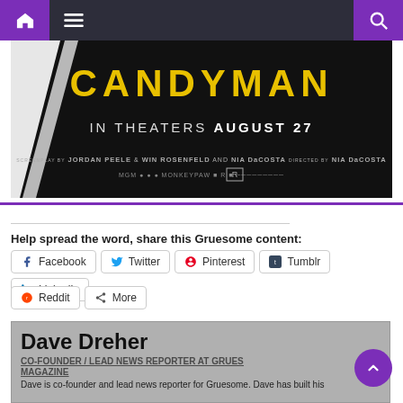Navigation bar with home, menu, and search icons
[Figure (photo): Candyman movie poster showing 'CANDYMAN IN THEATERS AUGUST 27' with credits including Jordan Peele & Win Rosenfeld and Nia DaCosta, rated R]
Help spread the word, share this Gruesome content:
Facebook
Twitter
Pinterest
Tumblr
LinkedIn
Reddit
More
Dave Dreher
CO-FOUNDER / LEAD NEWS REPORTER AT GRUESOME MAGAZINE
Dave is co-founder and lead news reporter for Gruesome. Dave has built his